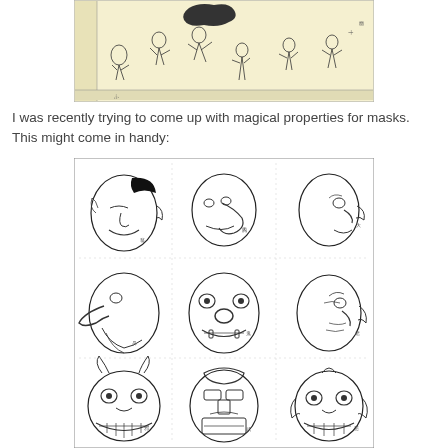[Figure (illustration): A Japanese woodblock print illustration showing multiple figures in dynamic poses, drawn in a traditional ukiyo-e style on a yellowish background with Japanese text captions.]
I was recently trying to come up with magical properties for masks. This might come in handy:
[Figure (illustration): A page of Japanese mask illustrations showing 9 different theatrical/demon masks arranged in a 3x3 grid. The masks show various expressions including grimacing demons, long-nosed figures, and fearsome faces, drawn in black line art on white background with Japanese text labels.]